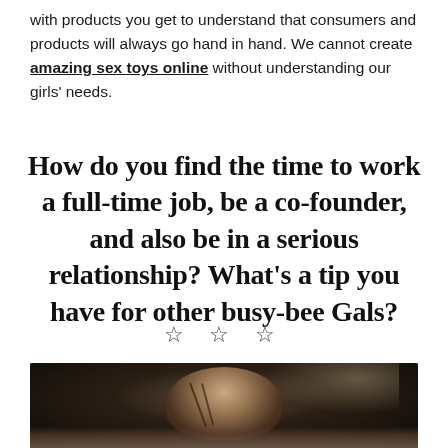with products you get to understand that consumers and products will always go hand in hand. We cannot create amazing sex toys online without understanding our girls' needs.
How do you find the time to work a full-time job, be a co-founder, and also be in a serious relationship? What's a tip you have for other busy-bee Gals?
[Figure (photo): A woman eating with chopsticks at a restaurant, dark ambient lighting, casual dining setting]